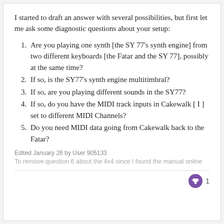I started to draft an answer with several possibilities, but first let me ask some diagnostic questions about your setup:
Are you playing one synth [the SY 77's synth engine] from two different keyboards [the Fatar and the SY 77], possibly at the same time?
If so, is the SY77's synth engine multitimbral?
If so, are you playing different sounds in the SY77?
If so, do you have the MIDI track inputs in Cakewalk [ I ] set to different MIDI Channels?
Do you need MIDI data going from Cakewalk back to the Fatar?
Edited January 26 by User 905133
To remove question 6 about the 4x4 since I found the manual online